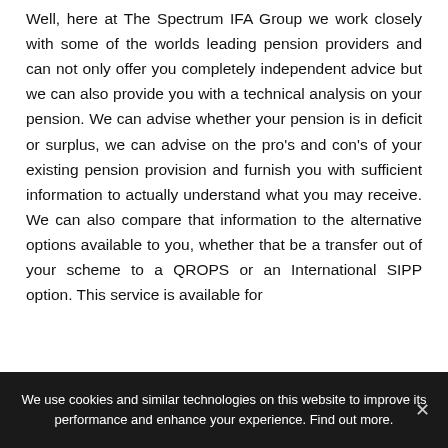Well, here at The Spectrum IFA Group we work closely with some of the worlds leading pension providers and can not only offer you completely independent advice but we can also provide you with a technical analysis on your pension. We can advise whether your pension is in deficit or surplus, we can advise on the pro's and con's of your existing pension provision and furnish you with sufficient information to actually understand what you may receive. We can also compare that information to the alternative options available to you, whether that be a transfer out of your scheme to a QROPS or an International SIPP option. This service is available for
We use cookies and similar technologies on this website to improve its performance and enhance your experience. Find out more.